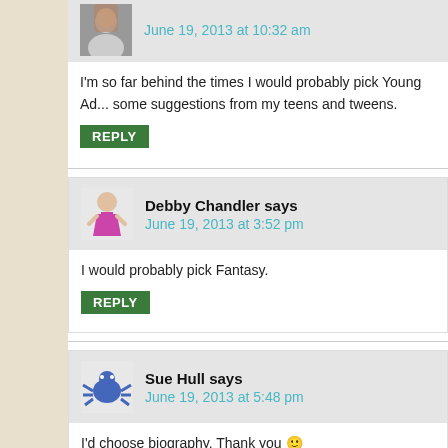June 19, 2013 at 10:32 am
I'm so far behind the times I would probably pick Young Ad... some suggestions from my teens and tweens.
REPLY
Debby Chandler says
June 19, 2013 at 3:52 pm
I would probably pick Fantasy.
REPLY
Sue Hull says
June 19, 2013 at 5:48 pm
I'd choose biography. Thank you 🙂
I have a new email address but it won't take it in the email a...
with my new one?